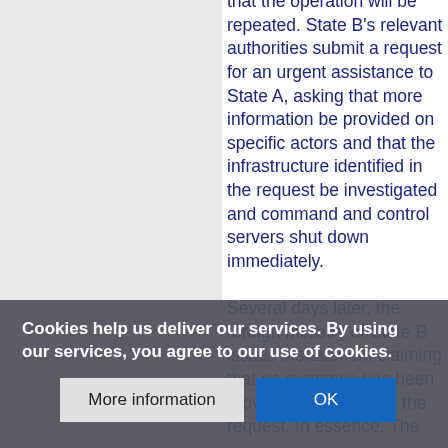that the operation will be repeated. State B's relevant authorities submit a request for an urgent assistance to State A, asking that more information be provided on specific actors and that the infrastructure identified in the request be investigated and command and control servers shut down immediately.

Several days later, the foreign ministry of State B issues a statement claiming that no response has been provided by State A to the request. In essence, The
Cookies help us deliver our services. By using our services, you agree to our use of cookies.